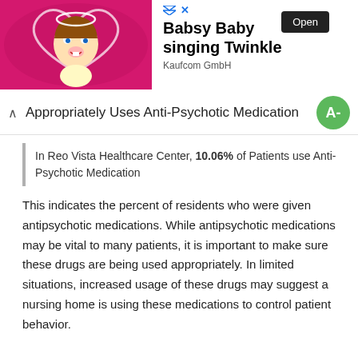[Figure (photo): Advertisement banner showing Babsy Baby singing Twinkle by Kaufcom GmbH with a cartoon baby image and Open button]
Appropriately Uses Anti-Psychotic Medication
In Reo Vista Healthcare Center, 10.06% of Patients use Anti-Psychotic Medication
This indicates the percent of residents who were given antipsychotic medications. While antipsychotic medications may be vital to many patients, it is important to make sure these drugs are being used appropriately. In limited situations, increased usage of these drugs may suggest a nursing home is using these medications to control patient behavior.